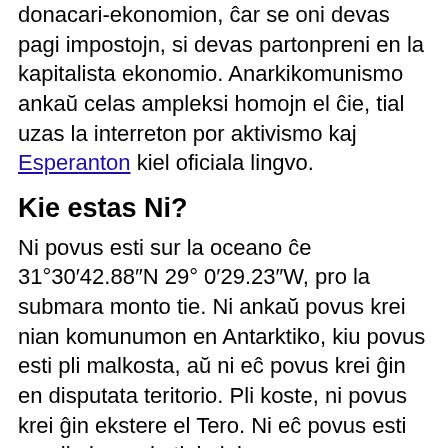donacari-ekonomion, ĉar se oni devas pagi impostojn, si devas partonpreni en la kapitalista ekonomio. Anarkikomunismo ankaŭ celas ampleksi homojn el ĉie, tial uzas la interreton por aktivismo kaj Esperanton kiel oficiala lingvo.
Kie estas Ni?
Ni povus esti sur la oceano ĉe 31°30′42.88″N 29° 0′29.23″W, pro la submara monto tie. Ni ankaŭ povus krei nian komunumon en Antarktiko, kiu povus esti pli malkosta, aŭ ni eĉ povus krei ĝin en disputata teritorio. Pli koste, ni povus krei ĝin ekstere el Tero. Ni eĉ povus esti en pli ol unu da tiuj ejoj.
Rete, oni povas trovi nin ĉe /r/anarkikomunismolando.
English
What are We?